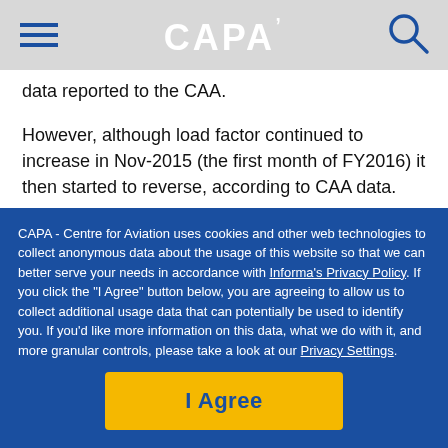CAPA
data reported to the CAA.
However, although load factor continued to increase in Nov-2015 (the first month of FY2016) it then started to reverse, according to CAA data.
In the first five months of FY2016 (Nov-2015 to Mar-2016) Monarch's load factor fell by 1.6ppts to 75.9%, in spite of an
CAPA - Centre for Aviation uses cookies and other web technologies to collect anonymous data about the usage of this website so that we can better serve your needs in accordance with Informa's Privacy Policy. If you click the "I Agree" button below, you are agreeing to allow us to collect additional usage data that can potentially be used to identify you. If you'd like more information on this data, what we do with it, and more granular controls, please take a look at our Privacy Settings.